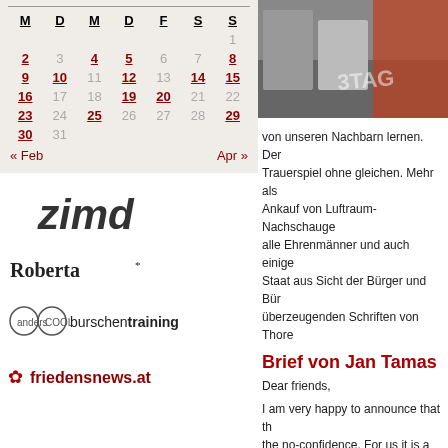| M | D | M | D | F | S | S |
| --- | --- | --- | --- | --- | --- | --- |
|  |  |  |  |  |  | 1 |
| 2 | 3 | 4 | 5 | 6 | 7 | 8 |
| 9 | 10 | 11 | 12 | 13 | 14 | 15 |
| 16 | 17 | 18 | 19 | 20 | 21 | 22 |
| 23 | 24 | 25 | 26 | 27 | 28 | 29 |
| 30 | 31 |  |  |  |  |  |
« Feb    Apr »
[Figure (logo): zimd logo in italic bold font]
[Figure (logo): Roberta* logo in bold serif font]
[Figure (logo): anderscool burschentraining logo with circle icons]
[Figure (logo): friedensnews.at logo with butterfly icon]
[Figure (photo): Photo of people sitting in a room with orange jersey and 3TAG text visible]
von unseren Nachbarn lernen. Der Trauerspiel ohne gleichen. Mehr als Ankauf von Luftraum-Nachschaugе alle Ehrenmänner und auch einige Staat aus Sicht der Bürger und Bür überzeugenden Schriften von Thore
Brief von Jan Tamas
Dear friends,
I am very happy to announce that the no-confidence. For us it is a great installation of the US radar base w than 2 years in this direction with pe represented the interests of the US
Our work has been fundamental in were against the radar and to sprea the change of mind of some deputie
On the other hand, pressed by the clear position supporting us and th